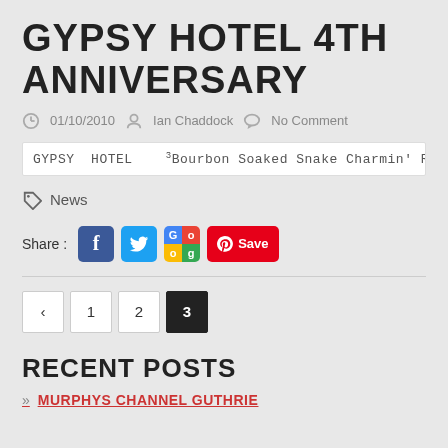GYPSY HOTEL 4TH ANNIVERSARY
01/10/2010   Ian Chaddock   No Comment
GYPSY HOTEL   ³Bourbon Soaked Snake Charmin' Rock'n'Roll Cab
News
Share : [Facebook] [Twitter] [Google+] [Pinterest Save]
« 1 2 3
RECENT POSTS
MURPHYS CHANNEL GUTHRIE